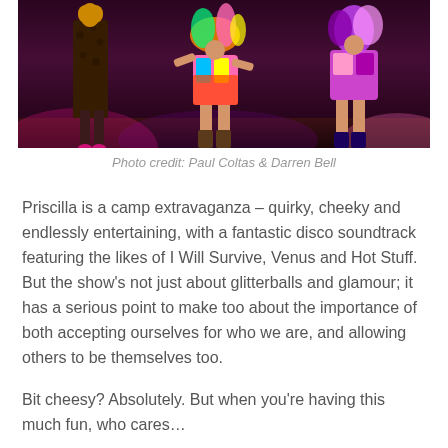[Figure (photo): Stage performance photo showing performers in colorful costumes on a dark stage with dramatic lighting. Left figure in leopard print and dark outfit, center figure in bright colorful short costume, right figure partially visible in pink/purple costume.]
Photo credit: Paul Coltas & Darren Bell
Priscilla is a camp extravaganza – quirky, cheeky and endlessly entertaining, with a fantastic disco soundtrack featuring the likes of I Will Survive, Venus and Hot Stuff. But the show's not just about glitterballs and glamour; it has a serious point to make too about the importance of both accepting ourselves for who we are, and allowing others to be themselves too.
Bit cheesy? Absolutely. But when you're having this much fun, who cares…